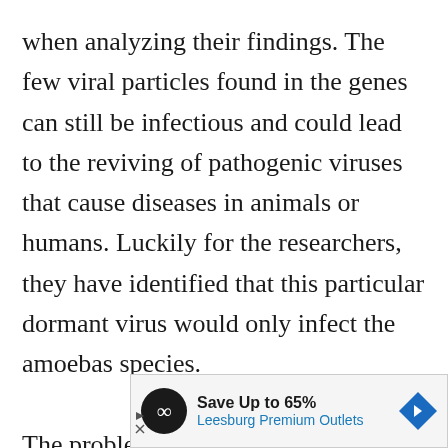when analyzing their findings. The few viral particles found in the genes can still be infectious and could lead to the reviving of pathogenic viruses that cause diseases in animals or humans. Luckily for the researchers, they have identified that this particular dormant virus would only infect the amoebas species.

The problem is, of course, global warming which is cau
[Figure (other): Advertisement banner for Leesburg Premium Outlets with Save Up to 65% text, infinity logo, and blue diamond arrow icon]